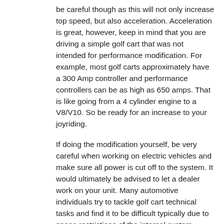be careful though as this will not only increase top speed, but also acceleration. Acceleration is great, however, keep in mind that you are driving a simple golf cart that was not intended for performance modification. For example, most golf carts approximately have a 300 Amp controller and performance controllers can be as high as 650 amps. That is like going from a 4 cylinder engine to a V8/V10. So be ready for an increase to your joyriding.
If doing the modification yourself, be very careful when working on electric vehicles and make sure all power is cut off to the system. It would ultimately be advised to let a dealer work on your unit. Many automotive individuals try to tackle golf cart technical tasks and find it to be difficult typically due to space restrictions of the internal system.